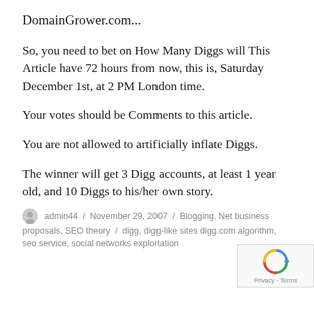DomainGrower.com...
So, you need to bet on How Many Diggs will This Article have 72 hours from now, this is, Saturday December 1st, at 2 PM London time.
Your votes should be Comments to this article.
You are not allowed to artificially inflate Diggs.
The winner will get 3 Digg accounts, at least 1 year old, and 10 Diggs to his/her own story.
admin44 / November 29, 2007 / Blogging, Net business proposals, SEO theory / digg, digg-like sites, digg.com algorithm, seo service, social networks exploitation